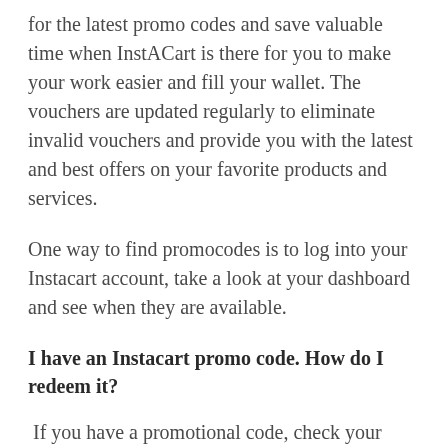for the latest promo codes and save valuable time when InstACart is there for you to make your work easier and fill your wallet. The vouchers are updated regularly to eliminate invalid vouchers and provide you with the latest and best offers on your favorite products and services.
One way to find promocodes is to log into your Instacart account, take a look at your dashboard and see when they are available.
I have an Instacart promo code. How do I redeem it?
If you have a promotional code, check your purchases in your shopping cart and generally click on "Apply" to get the discount. Once you add a suitable item to your shopping cart, the savings coupon will appear on the right side of the screen